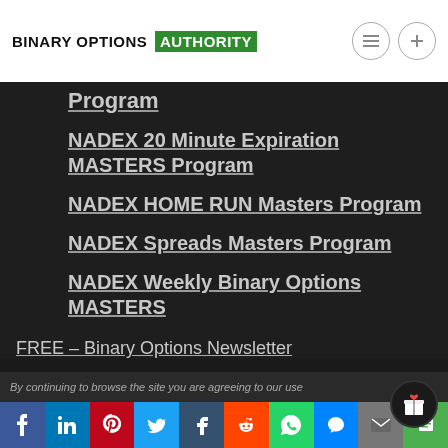BINARY OPTIONS AUTHORITY
Program
NADEX 20 Minute Expiration MASTERS Program
NADEX HOME RUN Masters Program
NADEX Spreads Masters Program
NADEX Weekly Binary Options MASTERS
FREE – Binary Options Newsletter
By continuing to browse the site you are agreeing to our use...